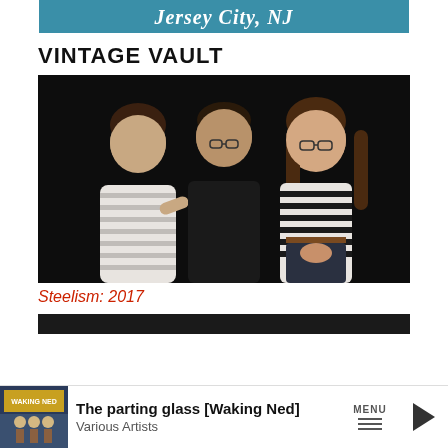Jersey City, NJ
VINTAGE VAULT
[Figure (photo): Three people posing together in front of a dark/black backdrop. On the left is a young man in a white striped shirt with sunglasses clipped to his collar, making a pointing gesture. In the center is a man in a black shirt wearing glasses. On the right is a woman with long hair wearing glasses and a black-and-white striped top with dark pants.]
Steelism: 2017
[Figure (screenshot): Music player bar showing album art for 'Waking Ned', track title 'The parting glass [Waking Ned]' by Various Artists, with a MENU button and play button.]